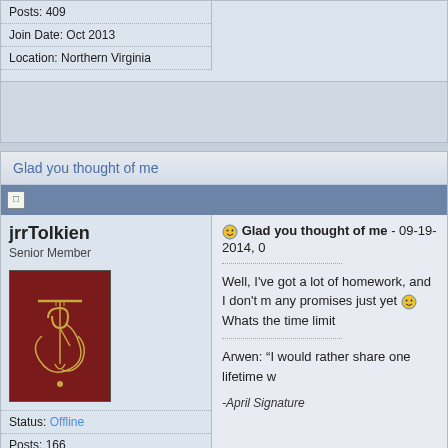Posts: 409
Join Date: Oct 2013
Location: Northern Virginia
Glad you thought of me
jrrTolkien
Senior Member
Status: Offline
Posts: 166
Join Date: Feb 2014
Location: Middle-Earth (Merrimack, NH)
Glad you thought of me - 09-19-2014, 0
Well, I've got a lot of homework, and I don't m any promises just yet 😊 Whats the time limit
Arwen: “I would rather share one lifetime w
-April Signature